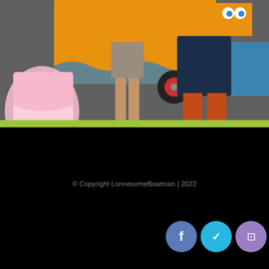[Figure (photo): Three children standing in front of a colorful orange and blue boat/ship decoration. Child on left wears a pink dress, middle child wears grey shorts, right child wears a navy jacket and orange pants.]
© Copyright LonnesomeBoatman | 2022